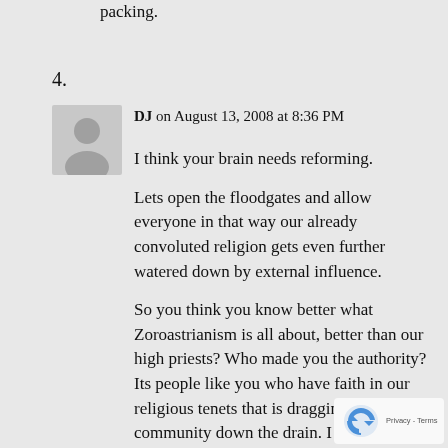packing.
4.
DJ on August 13, 2008 at 8:36 PM
I think your brain needs reforming.

Lets open the floodgates and allow everyone in that way our already convoluted religion gets even further watered down by external influence.

So you think you know better what Zoroastrianism is all about, better than our high priests? Who made you the authority? Its people like you who have faith in our religious tenets that is dragging our community down the drain. I